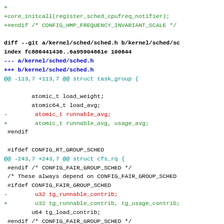Git diff output showing changes to kernel/sched/sched.h including additions of usage_avg and tg_usage_contrib fields, and struct rq additions.